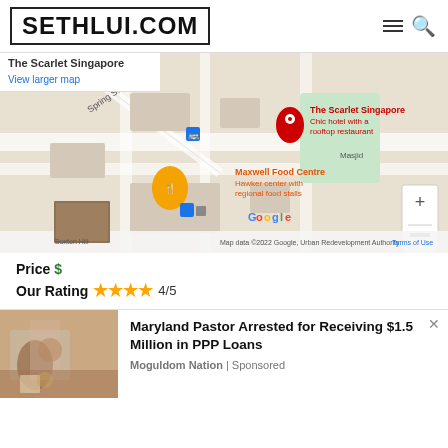SETHLUI.COM
[Figure (map): Google Maps embed showing The Scarlet Singapore hotel location and Maxwell Food Centre nearby, with map data ©2022 Google, Urban Redevelopment Authority]
Price $
Our Rating ★★★★ 4/5
Maryland Pastor Arrested for Receiving $1.5 Million in PPP Loans
Moguldom Nation | Sponsored